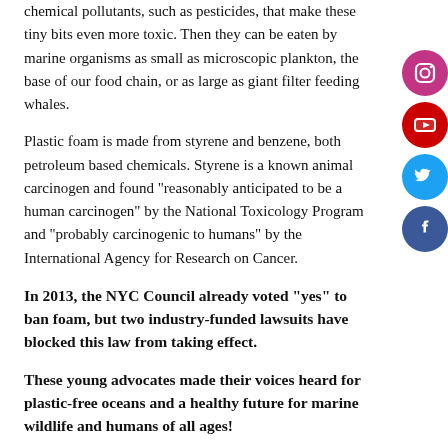chemical pollutants, such as pesticides, that make these tiny bits even more toxic. Then they can be eaten by marine organisms as small as microscopic plankton, the base of our food chain, or as large as giant filter feeding whales.
Plastic foam is made from styrene and benzene, both petroleum based chemicals. Styrene is a known animal carcinogen and found "reasonably anticipated to be a human carcinogen" by the National Toxicology Program and "probably carcinogenic to humans" by the International Agency for Research on Cancer.
In 2013, the NYC Council already voted “yes” to ban foam, but two industry-funded lawsuits have blocked this law from taking effect.
These young advocates made their voices heard for plastic-free oceans and a healthy future for marine wildlife and humans of all ages!
TAKE ACTION!
Call your NYC Council Member and urge her/him to